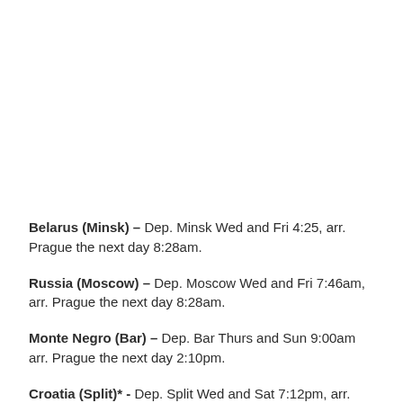Belarus (Minsk) – Dep. Minsk Wed and Fri 4:25, arr. Prague the next day 8:28am.
Russia (Moscow) – Dep. Moscow Wed and Fri 7:46am, arr. Prague the next day 8:28am.
Monte Negro (Bar) – Dep. Bar Thurs and Sun 9:00am arr. Prague the next day 2:10pm.
Croatia (Split)* - Dep. Split Wed and Sat 7:12pm, arr.